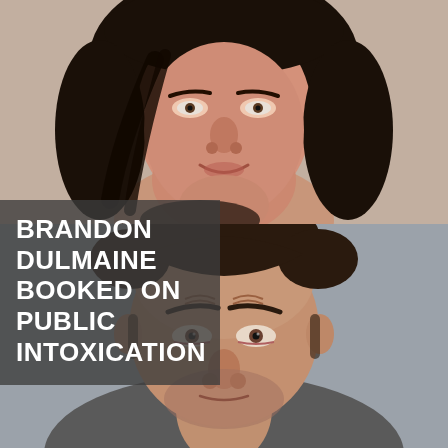[Figure (photo): Top mugshot photo of a woman with long dark hair, close-up of face and upper neck, neutral/slight smile expression, reddish complexion, against a light background]
[Figure (photo): Bottom mugshot photo of a man with short dark hair, receding hairline, furrowed brow, close-up of forehead and eyes, against a gray wall background]
BRANDON DULMAINE BOOKED ON PUBLIC INTOXICATION